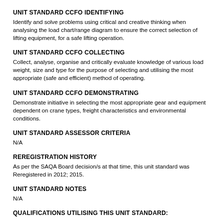UNIT STANDARD CCFO IDENTIFYING
Identify and solve problems using critical and creative thinking when analysing the load chart/range diagram to ensure the correct selection of lifting equipment, for a safe lifting operation.
UNIT STANDARD CCFO COLLECTING
Collect, analyse, organise and critically evaluate knowledge of various load weight, size and type for the purpose of selecting and utilising the most appropriate (safe and efficient) method of operating.
UNIT STANDARD CCFO DEMONSTRATING
Demonstrate initiative in selecting the most appropriate gear and equipment dependent on crane types, freight characteristics and environmental conditions.
UNIT STANDARD ASSESSOR CRITERIA
N/A
REREGISTRATION HISTORY
As per the SAQA Board decision/s at that time, this unit standard was Reregistered in 2012; 2015.
UNIT STANDARD NOTES
N/A
QUALIFICATIONS UTILISING THIS UNIT STANDARD: